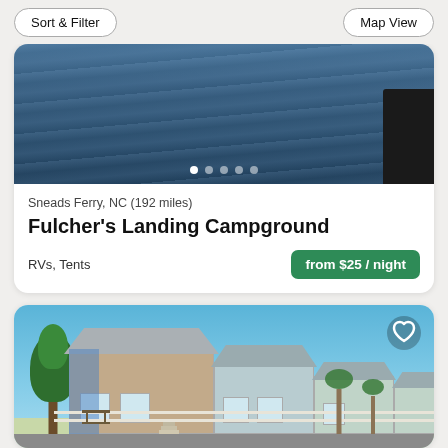Sort & Filter
Map View
[Figure (photo): Aerial or water-level view of a body of water (dark blue rippling water), with a dark object visible at the bottom right. Image carousel dots shown at the bottom.]
Sneads Ferry, NC (192 miles)
Fulcher's Landing Campground
RVs, Tents
from $25 / night
[Figure (photo): Photo of several small beach-style cabin buildings with metal roofs and white siding, a tree on the left, white fencing in front, palm trees in the background, under a clear blue sky.]